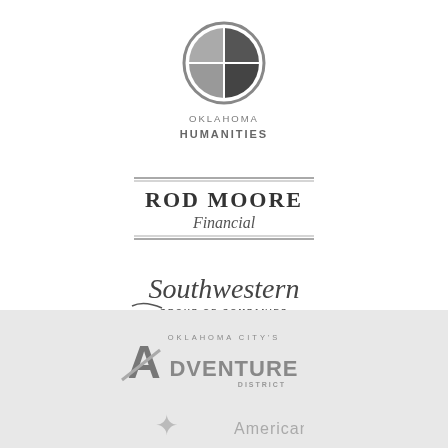[Figure (logo): Oklahoma Humanities logo — circular icon with geometric segments and text 'OKLAHOMA HUMANITIES' below]
[Figure (logo): Rod Moore Financial logo — bold serif text 'ROD MOORE' with script 'Financial' below and decorative lines]
[Figure (logo): Southwestern Group of Companies logo — script text 'Southwestern' with 'GROUP OF COMPANIES' and tagline below]
[Figure (logo): Oklahoma City's Adventure District logo — bold stylized text on gray background]
[Figure (logo): American logo — partial, showing decorative mark and text 'American']